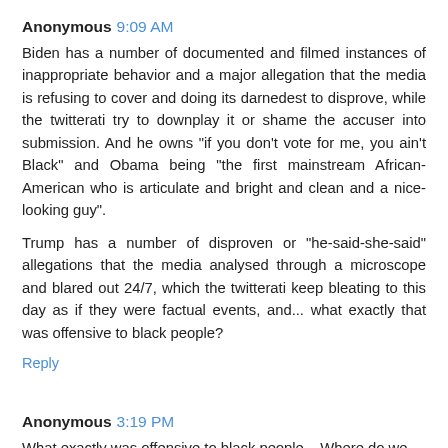Anonymous 9:09 AM
Biden has a number of documented and filmed instances of inappropriate behavior and a major allegation that the media is refusing to cover and doing its darnedest to disprove, while the twitterati try to downplay it or shame the accuser into submission. And he owns "if you don't vote for me, you ain't Black" and Obama being "the first mainstream African-American who is articulate and bright and clean and a nice-looking guy".
Trump has a number of disproven or "he-said-she-said" allegations that the media analysed through a microscope and blared out 24/7, which the twitterati keep bleating to this day as if they were factual events, and... what exactly that was offensive to black people?
Reply
Anonymous 3:19 PM
What exactly was offensive to black people... Where do we